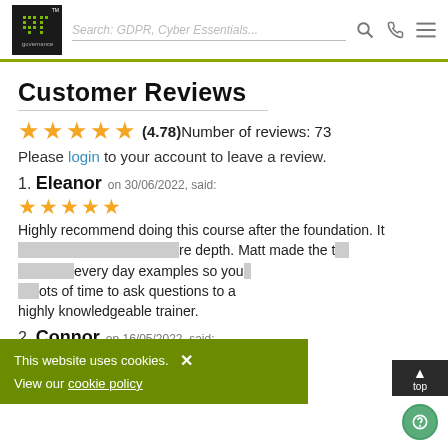[Figure (logo): IT Governance logo — dark square with green dot-matrix IT letters and 'governance' text below, with TM mark]
Search: GDPR, Cyber Essentials...
Customer Reviews
(4.78) Number of reviews: 73
Please login to your account to leave a review.
1. Eleanor on 30/06/2022, said: [5 stars] Highly recommend doing this course after the foundation. It [masked] re depth. Matt made the t[masked] every day examples so you [masked] ots of time to ask questions to a highly knowledgeable trainer.
2. Connor on 16/05/2022, said:
This website uses cookies. View our cookie policy